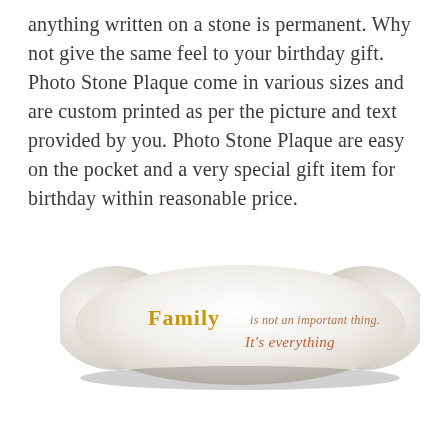anything written on a stone is permanent. Why not give the same feel to your birthday gift. Photo Stone Plaque come in various sizes and are custom printed as per the picture and text provided by you. Photo Stone Plaque are easy on the pocket and a very special gift item for birthday within reasonable price.
[Figure (photo): A white stone plaque with text printed on it reading 'Family is not an important thing. It's everything' — 'Family' in bold golden/yellow text and the rest in cursive orange/salmon colored script.]